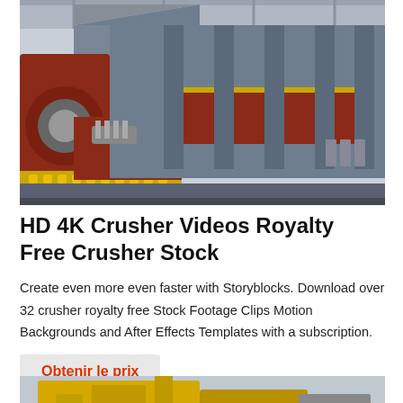[Figure (photo): Industrial crusher machine in a factory setting, large grey metal frame with red and yellow components, conveyor belt mechanism visible.]
HD 4K Crusher Videos Royalty Free Crusher Stock
Create even more even faster with Storyblocks. Download over 32 crusher royalty free Stock Footage Clips Motion Backgrounds and After Effects Templates with a subscription.
Obtenir le prix
[Figure (photo): Partial view of yellow industrial machinery at the bottom of the page.]